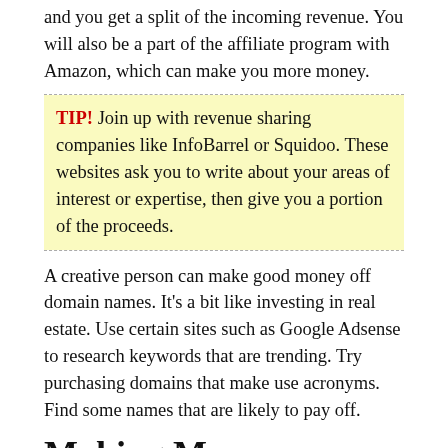and you get a split of the incoming revenue. You will also be a part of the affiliate program with Amazon, which can make you more money.
TIP! Join up with revenue sharing companies like InfoBarrel or Squidoo. These websites ask you to write about your areas of interest or expertise, then give you a portion of the proceeds.
A creative person can make good money off domain names. It’s a bit like investing in real estate. Use certain sites such as Google Adsense to research keywords that are trending. Try purchasing domains that make use acronyms. Find some names that are likely to pay off.
Making Money
It takes some research time to learn about making money online. One good way to get started is to find and